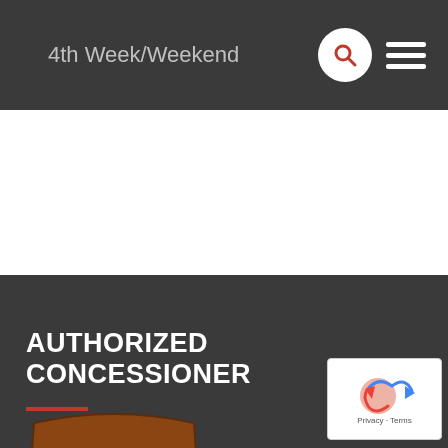4th Week/Weekend
AUTHORIZED CONCESSIONER
[Figure (logo): National Park Service arrowhead logo with trees, mountains, bison and text 'NATIONAL PARK SERVICE']
[Figure (logo): reCAPTCHA badge with privacy and terms links]